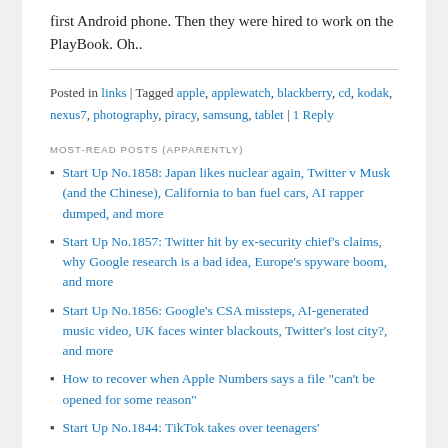first Android phone. Then they were hired to work on the PlayBook. Oh..
Posted in links | Tagged apple, applewatch, blackberry, cd, kodak, nexus7, photography, piracy, samsung, tablet | 1 Reply
MOST-READ POSTS (APPARENTLY)
Start Up No.1858: Japan likes nuclear again, Twitter v Musk (and the Chinese), California to ban fuel cars, AI rapper dumped, and more
Start Up No.1857: Twitter hit by ex-security chief's claims, why Google research is a bad idea, Europe's spyware boom, and more
Start Up No.1856: Google's CSA missteps, AI-generated music video, UK faces winter blackouts, Twitter's lost city?, and more
How to recover when Apple Numbers says a file "can't be opened for some reason"
Start Up No.1844: TikTok takes over teenagers'